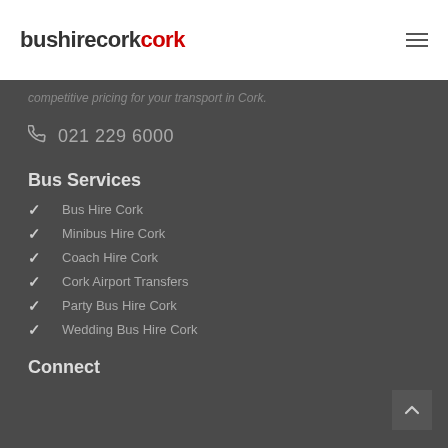bushirecork
competitive pricing for your transport in Cork.
021 229 6000
Bus Services
Bus Hire Cork
Minibus Hire Cork
Coach Hire Cork
Cork Airport Transfers
Party Bus Hire Cork
Wedding Bus Hire Cork
Connect